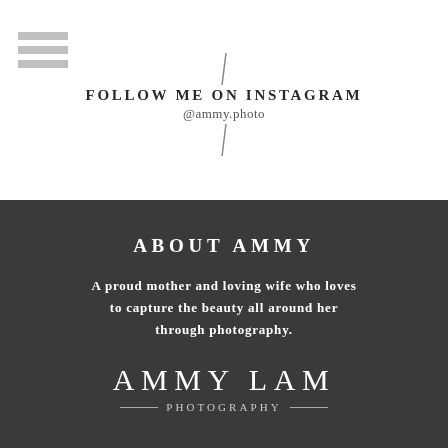[Figure (infographic): Menu icon (three horizontal lines) in top left corner]
FOLLOW ME ON INSTAGRAM
@ammy.photo
ABOUT AMMY
A proud mother and loving wife who loves to capture the beauty all around her through photography.
AMMY LAM
— PHOTOGRAPHY —